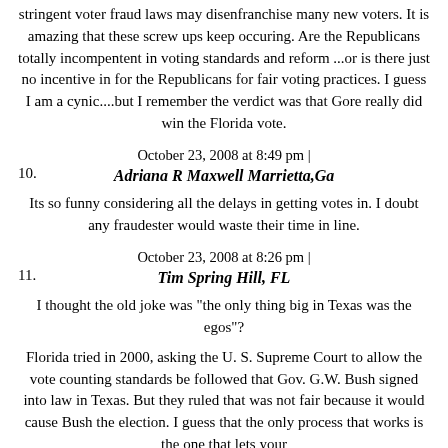stringent voter fraud laws may disenfranchise many new voters. It is amazing that these screw ups keep occuring. Are the Republicans totally incompentent in voting standards and reform ...or is there just no incentive in for the Republicans for fair voting practices. I guess I am a cynic....but I remember the verdict was that Gore really did win the Florida vote.
October 23, 2008 at 8:49 pm |
10.
Adriana R Maxwell Marrietta,Ga
Its so funny considering all the delays in getting votes in. I doubt any fraudester would waste their time in line.
October 23, 2008 at 8:26 pm |
11.
Tim Spring Hill, FL
I thought the old joke was "the only thing big in Texas was the egos"?
Florida tried in 2000, asking the U. S. Supreme Court to allow the vote counting standards be followed that Gov. G.W. Bush signed into law in Texas. But they ruled that was not fair because it would cause Bush the election. I guess that the only process that works is the one that lets your